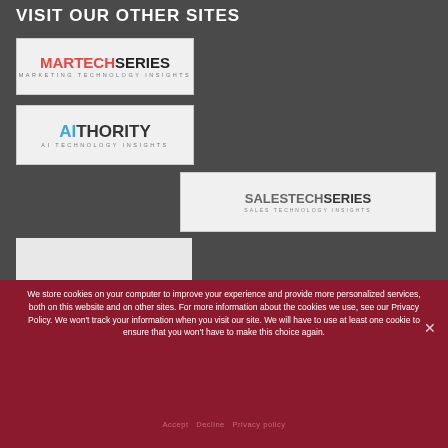VISIT OUR OTHER SITES
[Figure (logo): MARTECHSERIES – MARKETING TECHNOLOGY INSIGHTS logo with red and dark text on light background]
[Figure (logo): AITHORITY – AI TECHNOLOGY INSIGHTS logo with cyan and dark text on light background]
[Figure (logo): SALESTECHSERIES – SALES TECHNOLOGY INSIGHTS logo with grey text on light background]
[Figure (other): Blank light grey placeholder box]
We store cookies on your computer to improve your experience and provide more personalized services, both on this website and on other sites. For more information about the cookies we use, see our Privacy Policy. We won't track your information when you visit our site. We will have to use at least one cookie to ensure that you won't have to make this choice again.
Accept  Decline  Privacy policy